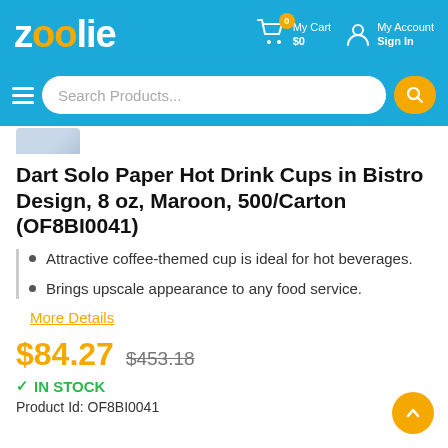zoolie — My Cart $0 | My Account Sign In
[Figure (screenshot): Zoolie e-commerce website header with logo, cart, and account icons]
Dart Solo Paper Hot Drink Cups in Bistro Design, 8 oz, Maroon, 500/Carton (OF8BI0041)
Attractive coffee-themed cup is ideal for hot beverages.
Brings upscale appearance to any food service.
More Details
$84.27  $453.18
✔ IN STOCK
Product Id: OF8BI0041